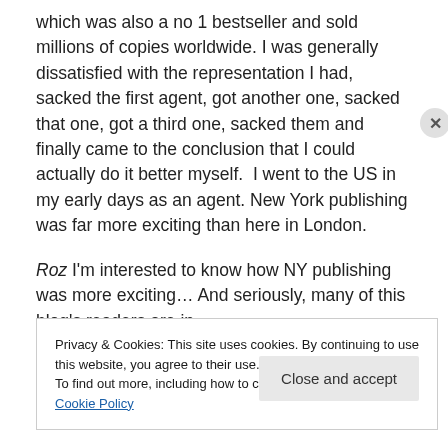which was also a no 1 bestseller and sold millions of copies worldwide. I was generally dissatisfied with the representation I had, sacked the first agent, got another one, sacked that one, got a third one, sacked them and finally came to the conclusion that I could actually do it better myself.  I went to the US in my early days as an agent. New York publishing was far more exciting than here in London.
Roz I'm interested to know how NY publishing was more exciting… And seriously, many of this blog's readers are in
Privacy & Cookies: This site uses cookies. By continuing to use this website, you agree to their use.
To find out more, including how to control cookies, see here: Cookie Policy